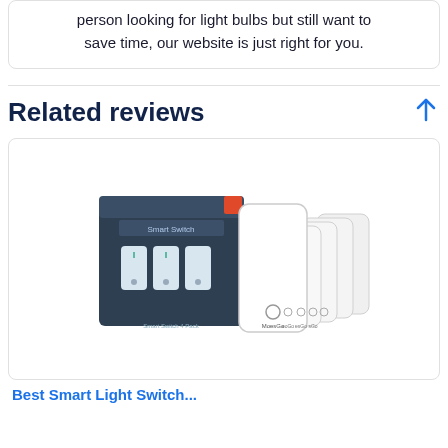person looking for light bulbs but still want to save time, our website is just right for you.
Related reviews
[Figure (photo): Product photo of a smart switch package showing a dark box labeled 'Smart Switch' alongside multiple white smart light switch units (MoesGo brand) arranged in a fan-like display.]
Best Smart Light Switch...